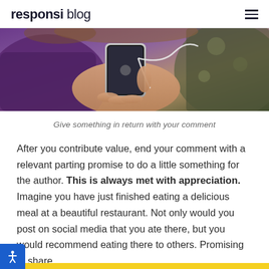responsi blog
[Figure (photo): Person holding a smartphone with earphones connected, wearing a purple jacket, with another person in background]
Give something in return with your comment
After you contribute value, end your comment with a relevant parting promise to do a little something for the author. This is always met with appreciation. Imagine you have just finished eating a delicious meal at a beautiful restaurant. Not only would you post on social media that you ate there, but you would recommend eating there to others. Promising to share